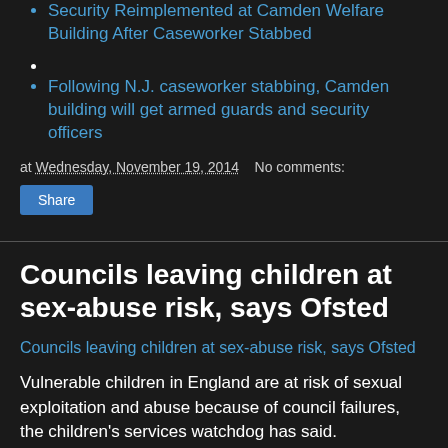Security Reimplemented at Camden Welfare Building After Caseworker Stabbed
Following N.J. caseworker stabbing, Camden building will get armed guards and security officers
at Wednesday, November 19, 2014     No comments:
Share
Councils leaving children at sex-abuse risk, says Ofsted
Councils leaving children at sex-abuse risk, says Ofsted
Vulnerable children in England are at risk of sexual exploitation and abuse because of council failures, the children's services watchdog has said.